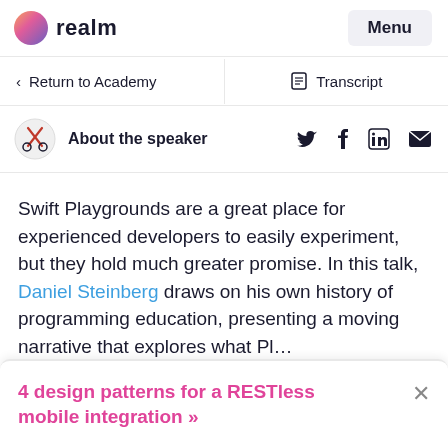realm  Menu
< Return to Academy   Transcript
About the speaker
Swift Playgrounds are a great place for experienced developers to easily experiment, but they hold much greater promise. In this talk, Daniel Steinberg draws on his own history of programming education, presenting a moving narrative that explores what Playgrounds could mean for the education of...
4 design patterns for a RESTless mobile integration »